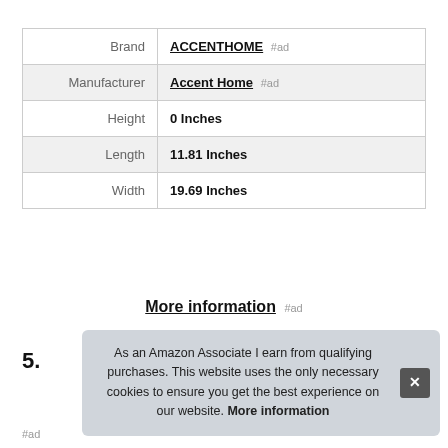| Brand | ACCENTHOME #ad |
| Manufacturer | Accent Home #ad |
| Height | 0 Inches |
| Length | 11.81 Inches |
| Width | 19.69 Inches |
More information #ad
5.
As an Amazon Associate I earn from qualifying purchases. This website uses the only necessary cookies to ensure you get the best experience on our website. More information
#ad